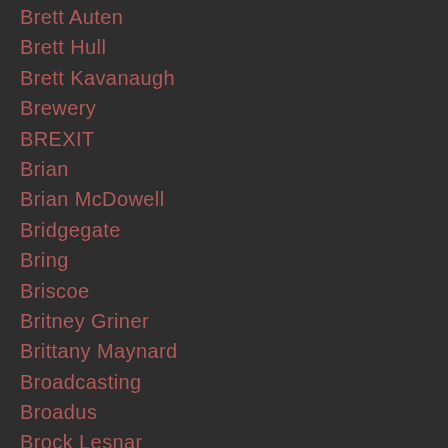Brett Auten
Brett Hull
Brett Kavanaugh
Brewery
BREXIT
Brian
Brian McDowell
Bridgegate
Bring
Briscoe
Britney Griner
Brittany Maynard
Broadcasting
Broadus
Brock Lesnar
Broken
Brown
Bruce Jenner
Bryan
Buffalo
Buffalo Shooting